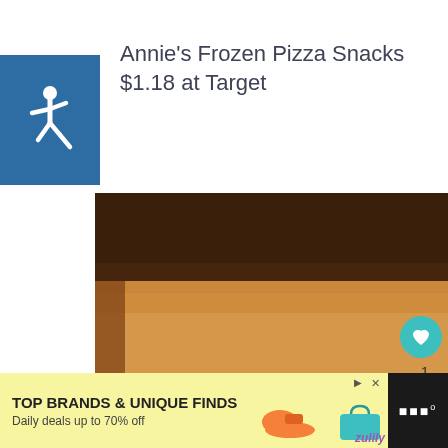[Figure (logo): Blue square with white wheelchair accessibility icon]
Annie's Frozen Pizza Snacks $1.18 at Target
[Figure (photo): Close-up food photo showing a slice of chocolate cheesecake with whipped cream and a strawberry]
1
WHAT'S NEXT → Dish & Laundry Soa...
[Figure (infographic): Advertisement banner: TOP BRANDS & UNIQUE FINDS, Daily deals up to 70% off, zulily brand]